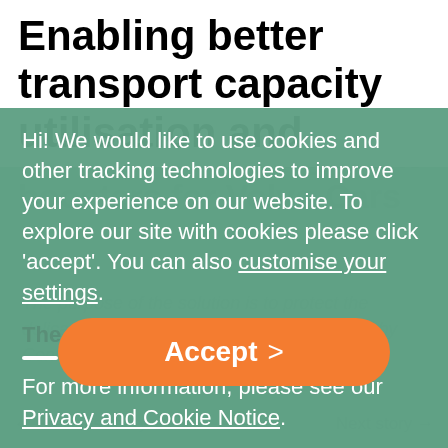Enabling better transport capacity utilisation and
enhanced ergonomics for workers producing brake boosters for Volvo Cars
Hi! We would like to use cookies and other tracking technologies to improve your experience on our website. To explore our site with cookies please click ‘accept’. You can also customise your settings.
The challenge
For more information, please see our Privacy and Cookie Notice.
The purpose of the solution is to protect the delicate MKCI brake boosters manufactured by Continental during transport around the
Accept >
← Previous story   Next story →